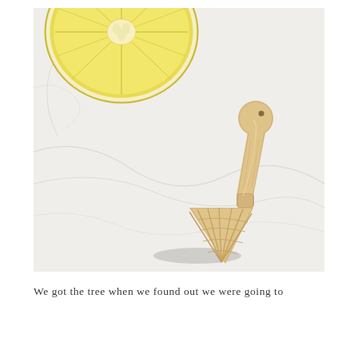[Figure (photo): Overhead photo on a white marble surface showing a halved lemon in the upper left corner and a wooden citrus juicer/reamer placed diagonally. The wooden juicer has a rounded handle with a small hole at the top and a ridged cone-shaped squeezer at the bottom. The marble surface has subtle grey veining.]
We got the tree when we found out we were going to